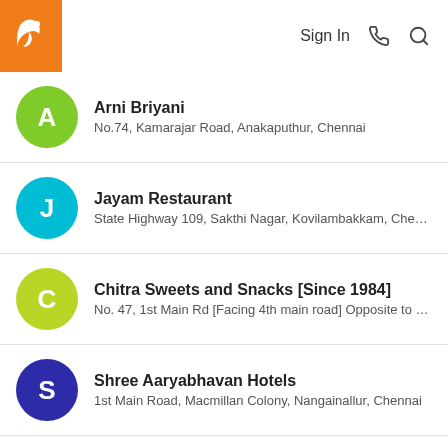Sign In | [phone icon] | [search icon]
Arni Briyani
No.74, Kamarajar Road, Anakaputhur, Chennai
Jayam Restaurant
State Highway 109, Sakthi Nagar, Kovilambakkam, Chen...
Chitra Sweets and Snacks [Since 1984]
No. 47, 1st Main Rd [Facing 4th main road] Opposite to chi...
Shree Aaryabhavan Hotels
1st Main Road, Macmillan Colony, Nangainallur, Chennai
Dominos Pizza
New Door No.21, Old No.28, Suprabhat Building, No. C, 1s...
Nellai Hotel